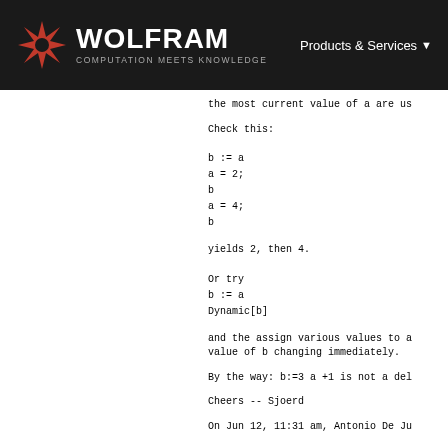WOLFRAM COMPUTATION MEETS KNOWLEDGE — Products & Services
the most current value of a are us
Check this:
b := a
a = 2;
b
a = 4;
b
yields 2, then 4.
Or try
b := a
Dynamic[b]
and the assign various values to a
value of b changing immediately.
By the way: b:=3 a +1 is not a del
Cheers -- Sjoerd
On Jun 12, 11:31 am, Antonio De Ju